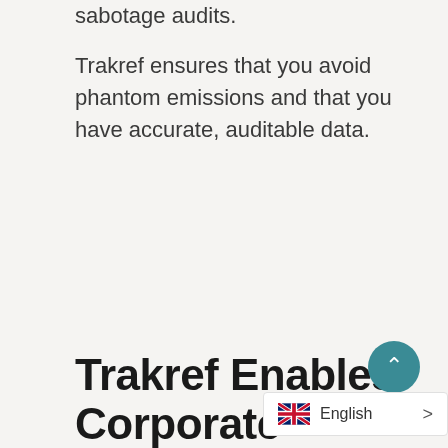sabotage audits.
Trakref ensures that you avoid phantom emissions and that you have accurate, auditable data.
Trakref Enables Corporate